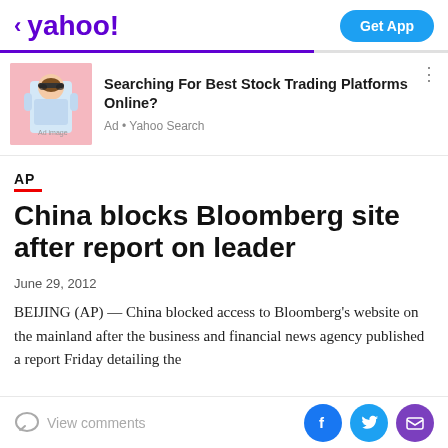< yahoo!  Get App
[Figure (photo): Man in sunglasses with money against pink background, advertisement for stock trading platform]
Searching For Best Stock Trading Platforms Online?
Ad • Yahoo Search
AP
China blocks Bloomberg site after report on leader
June 29, 2012
BEIJING (AP) — China blocked access to Bloomberg's website on the mainland after the business and financial news agency published a report Friday detailing the
View comments